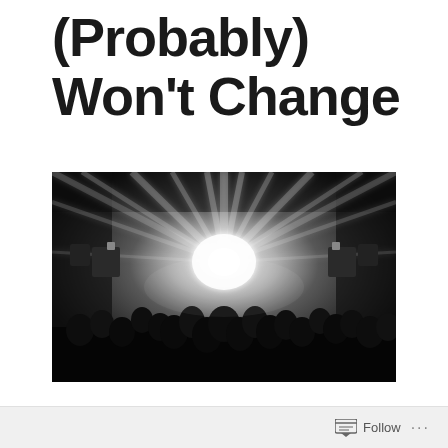(Probably) Won't Change
[Figure (photo): Black and white concert photo showing a bright starburst of stage lights radiating outward above a crowd of silhouetted audience members in the foreground, with dark venue surroundings.]
Follow ...